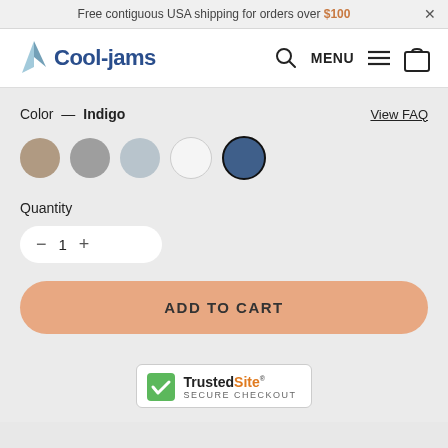Free contiguous USA shipping for orders over $100  ×
[Figure (logo): Cool-jams logo with blue wave/sail icon and blue text 'Cool-jams', plus search icon, MENU with hamburger lines, and shopping bag icon on the right]
Color — Indigo
View FAQ
[Figure (infographic): Five color swatches in a row: tan/beige, gray, silver/light gray, white, and indigo (selected, with black border ring)]
Quantity
− 1 +
ADD TO CART
[Figure (logo): TrustedSite SECURE CHECKOUT badge with green checkmark icon, bold text 'Trusted' and orange 'Site' superscript, and 'SECURE CHECKOUT' in small caps below]